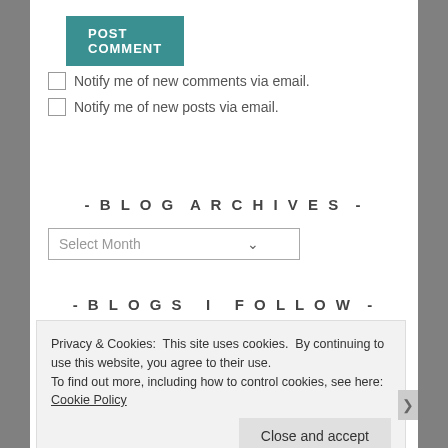POST COMMENT
Notify me of new comments via email.
Notify me of new posts via email.
- BLOG ARCHIVES -
Select Month
- BLOGS I FOLLOW -
Privacy & Cookies: This site uses cookies. By continuing to use this website, you agree to their use.
To find out more, including how to control cookies, see here: Cookie Policy
Close and accept